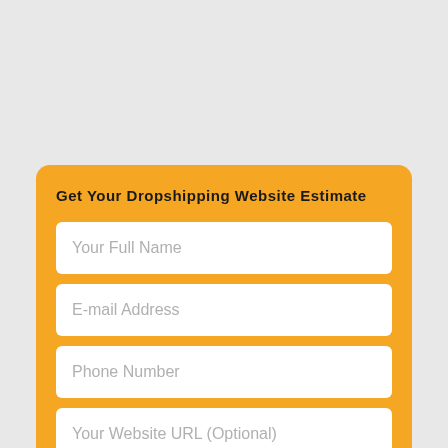Get Your Dropshipping Website Estimate
Your Full Name
E-mail Address
Phone Number
Your Website URL (Optional)